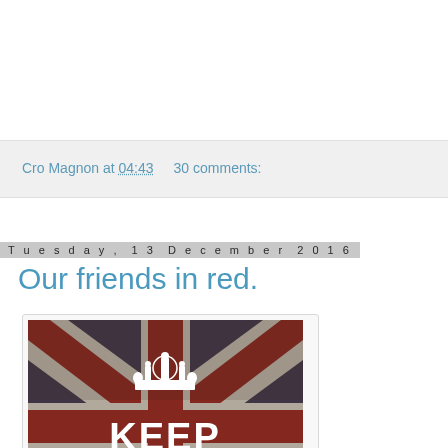Cro Magnon at 04:43    30 comments:
Tuesday, 13 December 2016
Our friends in red.
[Figure (illustration): A distressed/vintage-style Union Jack (British flag) with a crown graphic and the text KEEP CALM AND in white bold letters overlaid on the flag]